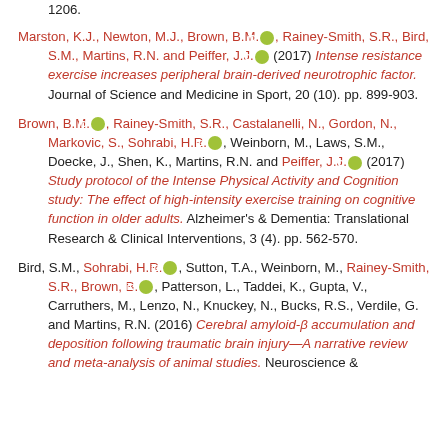1206.
Marston, K.J., Newton, M.J., Brown, B.M. [orcid], Rainey-Smith, S.R., Bird, S.M., Martins, R.N. and Peiffer, J.J. [orcid] (2017) Intense resistance exercise increases peripheral brain-derived neurotrophic factor. Journal of Science and Medicine in Sport, 20 (10). pp. 899-903.
Brown, B.M. [orcid], Rainey-Smith, S.R., Castalanelli, N., Gordon, N., Markovic, S., Sohrabi, H.R. [orcid], Weinborn, M., Laws, S.M., Doecke, J., Shen, K., Martins, R.N. and Peiffer, J.J. [orcid] (2017) Study protocol of the Intense Physical Activity and Cognition study: The effect of high-intensity exercise training on cognitive function in older adults. Alzheimer's & Dementia: Translational Research & Clinical Interventions, 3 (4). pp. 562-570.
Bird, S.M., Sohrabi, H.R. [orcid], Sutton, T.A., Weinborn, M., Rainey-Smith, S.R., Brown, B. [orcid], Patterson, L., Taddei, K., Gupta, V., Carruthers, M., Lenzo, N., Knuckey, N., Bucks, R.S., Verdile, G. and Martins, R.N. (2016) Cerebral amyloid-β accumulation and deposition following traumatic brain injury—A narrative review and meta-analysis of animal studies. Neuroscience &